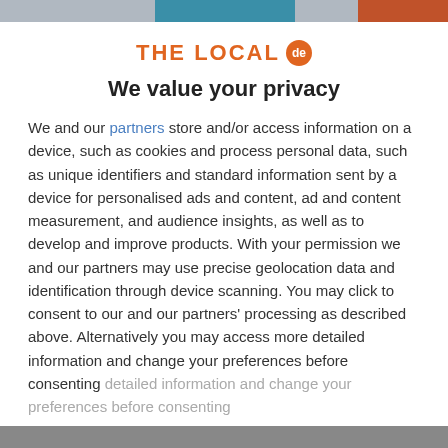[Figure (logo): THE LOCAL de logo with orange text and orange circle badge with 'de']
We value your privacy
We and our partners store and/or access information on a device, such as cookies and process personal data, such as unique identifiers and standard information sent by a device for personalised ads and content, ad and content measurement, and audience insights, as well as to develop and improve products. With your permission we and our partners may use precise geolocation data and identification through device scanning. You may click to consent to our and our partners' processing as described above. Alternatively you may access more detailed information and change your preferences before consenting
ACCEPT
MORE OPTIONS